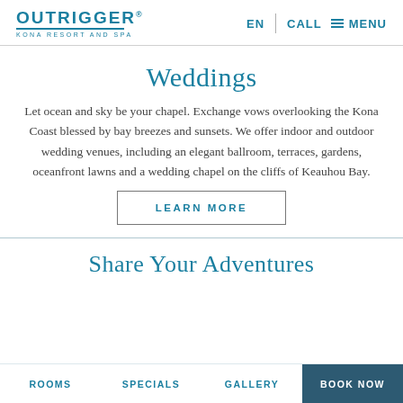OUTRIGGER. KONA RESORT AND SPA | EN | CALL | MENU
Weddings
Let ocean and sky be your chapel. Exchange vows overlooking the Kona Coast blessed by bay breezes and sunsets. We offer indoor and outdoor wedding venues, including an elegant ballroom, terraces, gardens, oceanfront lawns and a wedding chapel on the cliffs of Keauhou Bay.
LEARN MORE
Share Your Adventures
ROOMS | SPECIALS | GALLERY | BOOK NOW